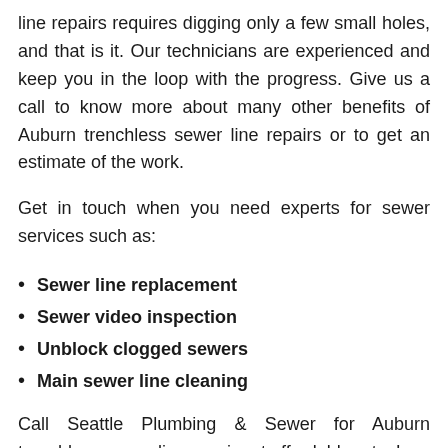line repairs requires digging only a few small holes, and that is it. Our technicians are experienced and keep you in the loop with the progress. Give us a call to know more about many other benefits of Auburn trenchless sewer line repairs or to get an estimate of the work.
Get in touch when you need experts for sewer services such as:
Sewer line replacement
Sewer video inspection
Unblock clogged sewers
Main sewer line cleaning
Call Seattle Plumbing & Sewer for Auburn trenchless sewer line repairs at affordable rates!